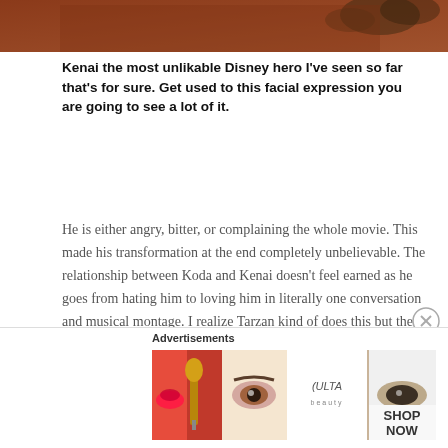[Figure (photo): Cropped top portion of an image showing a Disney character scene with brown/reddish tones and foliage in the background.]
Kenai the most unlikable Disney hero I've seen so far that's for sure. Get used to this facial expression you are going to see a lot of it.
He is either angry, bitter, or complaining the whole movie. This made his transformation at the end completely unbelievable. The relationship between Koda and Kenai doesn't feel earned as he goes from hating him to loving him in literally one conversation and musical montage. I realize Tarzan kind of does this but the montage shows weeks of interaction and sharing. This is literally a song and them frolicking in the woods. There's no sense of time elapsing or growth of characters. And even when he
Advertisements
[Figure (photo): Ulta Beauty advertisement banner showing close-up beauty/makeup images including lips, makeup brush, eye makeup, Ulta logo, and eyes with 'SHOP NOW' text.]